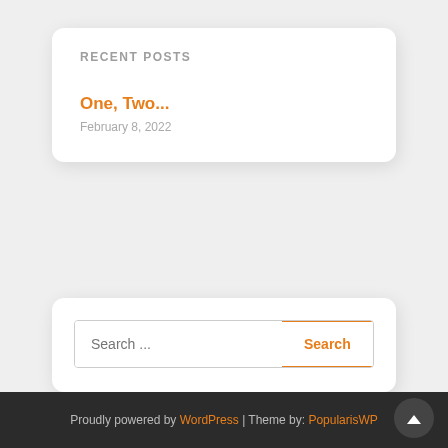RECENT POSTS
One, Two...
February 8, 2022
[Figure (screenshot): Search bar with text input placeholder 'Search ...' and orange outlined Search button]
Proudly powered by WordPress | Theme by: PopularisWP